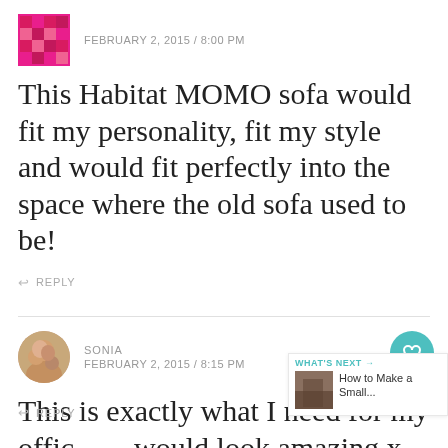[Figure (illustration): Pink patterned avatar icon]
FEBRUARY 2, 2015 / 8:00 PM
This Habitat MOMO sofa would fit my personality, fit my style and would fit perfectly into the space where the old sofa used to be!
↩ REPLY
[Figure (photo): Round avatar photo of Sonia]
SONIA
FEBRUARY 2, 2015 / 8:15 PM
This is exactly what I need for my office would look amazing x
↩ REPLY